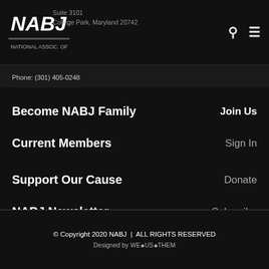[Figure (logo): NABJ logo - white text on black background]
Suite 3101
College Park, Maryland 20742
Phone: (301) 405-0248
Become NABJ Family    Join Us
Current Members    Sign In
Support Our Cause    Donate
NABJ Newsletter    Subscribe
© Copyright 2020 NABJ  |  ALL RIGHTS RESERVED
Designed by WE•US•THEM